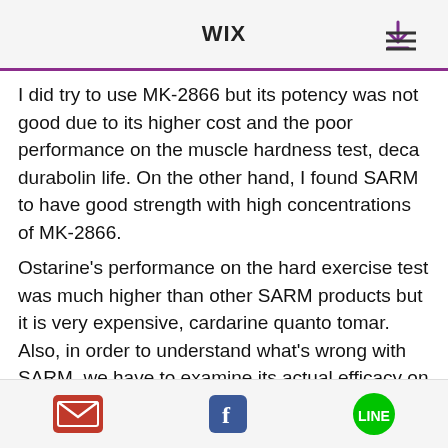WiX
I did try to use MK-2866 but its potency was not good due to its higher cost and the poor performance on the muscle hardness test, deca durabolin life. On the other hand, I found SARM to have good strength with high concentrations of MK-2866. Ostarine's performance on the hard exercise test was much higher than other SARM products but it is very expensive, cardarine quanto tomar. Also, in order to understand what's wrong with SARM, we have to examine its actual efficacy on endurance work, sarm lgd vs ostarine. In a recent study, I was involved in, we decided to test four different endurance models (maximum effort, 5 to 20 minute runs, 60 minute runs, 5 lap sprints), then tested their specific response. We noticed
email | facebook | line